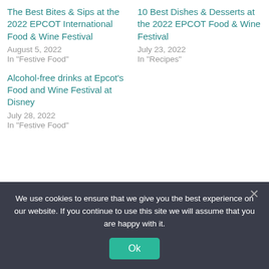The Best Bites & Sips at the 2022 EPCOT International Food & Wine Festival
August 5, 2022
In "Festive Food"
10 Best Dishes & Desserts at the 2022 EPCOT Food & Wine Festival
July 23, 2022
In "Recipes"
Alcohol-free drinks at Epcot's Food and Wine Festival at Disney
July 28, 2022
In "Festive Food"
Recipes
We use cookies to ensure that we give you the best experience on our website. If you continue to use this site we will assume that you are happy with it.